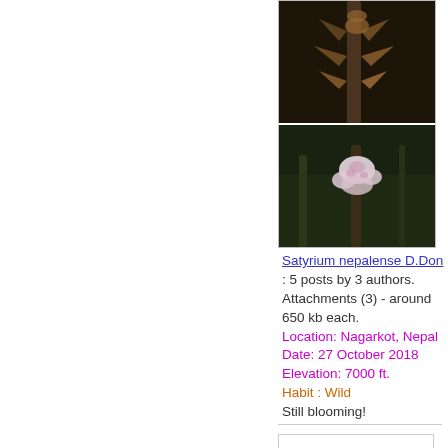[Figure (photo): Close-up photo of Satyrium nepalense plant stem/spike with brown dried floral parts against dark background]
[Figure (photo): Close-up photo of Satyrium nepalense flowers with white/pink blooms against dark green background]
Satyrium nepalense D.Don : 5 posts by 3 authors. Attachments (3) - around 650 kb each. Location: Nagarkot, Nepal Date: 27 October 2018 Elevation: 7000 ft. Habit : Wild Still blooming!